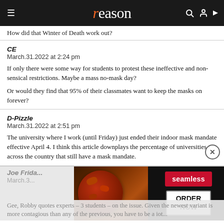reason
How did that Winter of Death work out?
CE
March.31.2022 at 2:24 pm

If only there were some way for students to protest these ineffective and non-sensical restrictions. Maybe a mass no-mask day?

Or would they find that 95% of their classmates want to keep the masks on forever?
D-Pizzle
March.31.2022 at 2:51 pm

The university where I work (until Friday) just ended their indoor mask mandate effective April 4. I think this article downplays the percentage of universities across the country that still have a mask mandate.
Joe Frida...
March.3...

Gee, Robby quotes experts – 3 students – on the issue. Given the newest variant is more contagious than any of the previous, you have to be a iot...